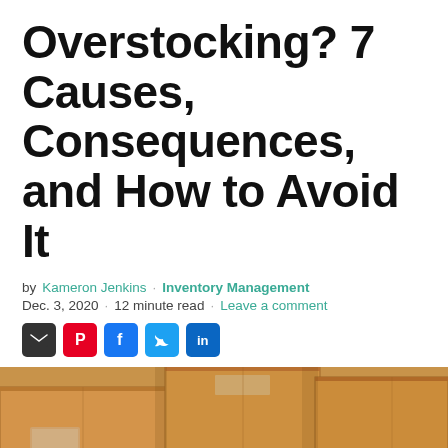Overstocking? 7 Causes, Consequences, and How to Avoid It
by Kameron Jenkins · Inventory Management
Dec. 3, 2020 · 12 minute read · Leave a comment
[Figure (photo): Stack of cardboard boxes with tape, overhead and angled view in warm brown tones]